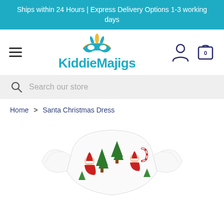Ships within 24 Hours | Express Delivery Options 1-3 working days
[Figure (logo): KiddieMajigs logo with decorative masquerade mask above the brand name in teal blue]
[Figure (illustration): Santa Christmas Dress product photo showing a white fabric children's dress with ruffle sleeves printed with Christmas motifs: Santa Claus, Christmas trees, candy canes, in red and green]
Search our store
Home > Santa Christmas Dress